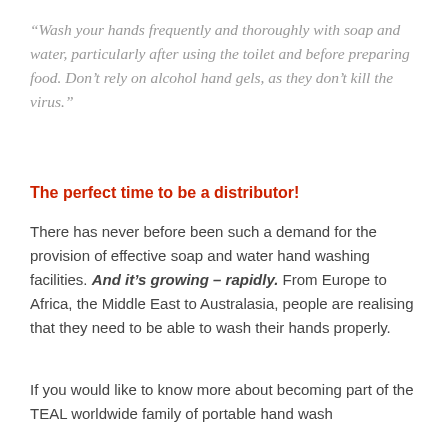“Wash your hands frequently and thoroughly with soap and water, particularly after using the toilet and before preparing food. Don’t rely on alcohol hand gels, as they don’t kill the virus.”
The perfect time to be a distributor!
There has never before been such a demand for the provision of effective soap and water hand washing facilities. And it’s growing – rapidly. From Europe to Africa, the Middle East to Australasia, people are realising that they need to be able to wash their hands properly.
If you would like to know more about becoming part of the TEAL worldwide family of portable hand wash unit distributors, please get in touch as follows